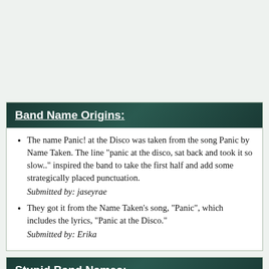Band Name Origins:
The name Panic! at the Disco was taken from the song Panic by Name Taken. The line "panic at the disco, sat back and took it so slow.." inspired the band to take the first half and add some strategically placed punctuation.
Submitted by: jaseyrae
They got it from the Name Taken's song, "Panic", which includes the lyrics, "Panic at the Disco."
Submitted by: Erika
Stupid Band Names:
I know they don't use the exclamation point anymore, but when they DID, it was just plain awkward. No one puts an